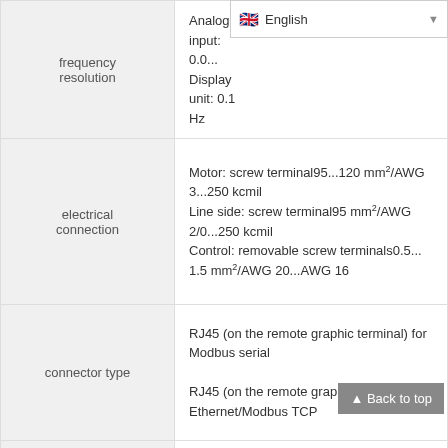| Property | Value |
| --- | --- |
| frequency resolution | Analog input: 0.0...
Display unit: 0.1 Hz |
| electrical connection | Motor: screw terminal95...120 mm²/AWG 3...250 kcmil
Line side: screw terminal95 mm²/AWG 2/0...250 kcmil
Control: removable screw terminals0.5...1.5 mm²/AWG 20...AWG 16 |
| connector type | RJ45 (on the remote graphic terminal) for Modbus serial
RJ45 (on the remote graphic terminal) for Ethernet/Modbus TCP |
| physical interface | 2-wire RS 485 for Modbus serial |
| transmission frame | RTU for Modbus serial |
|  | 4.8, 9.6, 19.2, 38.4 kbit/s for Modbus serial |